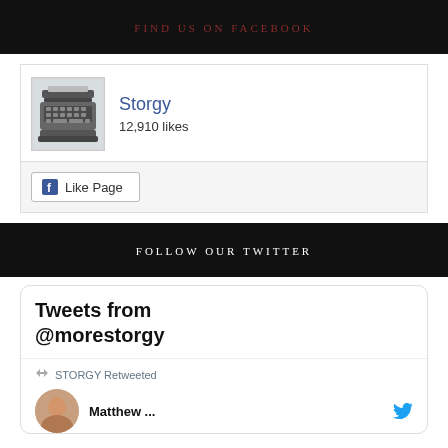FIND US ON FACEBOOK
[Figure (screenshot): Facebook page widget showing Storgy page with typewriter icon and 12,910 likes, with a Like Page button]
FOLLOW OUR TWITTER
[Figure (screenshot): Twitter widget showing Tweets from @morestorgy, with a STORGY Retweeted notice and Matthew ... tweet with Twitter bird icon]